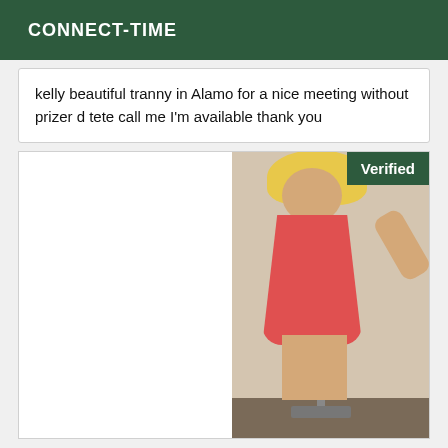CONNECT-TIME
kelly beautiful tranny in Alamo for a nice meeting without prizer d tete call me I'm available thank you
[Figure (photo): Photo of a person in a red dress with blonde hair standing next to a pole/stand, with a 'Verified' badge in the top right corner of the image panel]